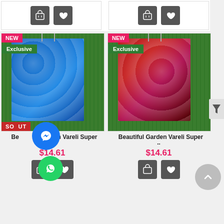[Figure (screenshot): Top strip with two product card placeholders showing cart and heart icon buttons on white background]
[Figure (photo): Blue patterned Garden Vareli Super fabric displayed on green grass background, with NEW badge, Exclusive badge, and SOLD OUT badge]
Beautiful Garden Vareli Super ..
$14.61
[Figure (photo): Red/maroon floral patterned Garden Vareli Super fabric displayed on green grass background, with NEW badge and Exclusive badge]
Beautiful Garden Vareli Super ..
$14.61